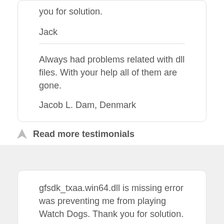you for solution.
Jack
Always had problems related with dll files. With your help all of them are gone.
Jacob L. Dam, Denmark
Read more testimonials
gfsdk_txaa.win64.dll is missing error was preventing me from playing Watch Dogs. Thank you for solution.